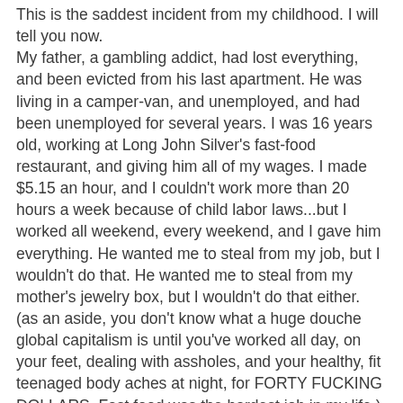This is the saddest incident from my childhood.  I will tell you now.
My father, a gambling addict, had lost everything, and been evicted from his last apartment.  He was living in a camper-van, and unemployed, and had been unemployed for several years.  I was 16 years old, working at Long John Silver's fast-food restaurant, and giving him all of my wages.  I made $5.15 an hour, and I couldn't work more than 20 hours a week because of child labor laws...but I worked all weekend, every weekend, and I gave him everything.  He wanted me to steal from my job, but I wouldn't do that.  He wanted me to steal from my mother's jewelry box, but I wouldn't do that either.
(as an aside, you don't know what a huge douche global capitalism is until you've worked all day, on your feet, dealing with assholes, and your healthy, fit teenaged body aches at night, for FORTY FUCKING DOLLARS.  Fast food was the hardest job in my life.)